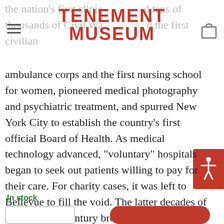TENEMENT MUSEUM
the nation's first clinic… saved tens of thousands of Civil War… and the first civilian ambulance corps and the first nursing school for women, pioneered medical photography and psychiatric treatment, and spurred New York City to establish the country's first official Board of Health. As medical technology advanced, "voluntary" hospitals began to seek out patients willing to pay for their care. For charity cases, it was left to Bellevue to fill the void. The latter decades of the twentieth century brought rampant crime, drug addiction, and homelessness to the nation's struggling cities—problems that called a public hospital's very survival into question. It took the AIDS crisis to cement Bellevue's enduring place as New York's ultimate safety net, the iconic hospital of last resort. Lively, page-turning, fascinating, Bellevue is essential American history.
In stock